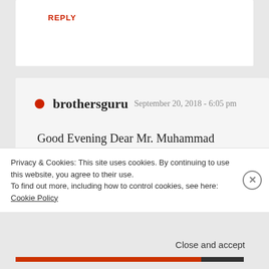REPLY
brothersguru  September 20, 2018 - 6:05 pm
Good Evening Dear Mr. Muhammad Irfan Ali, sorry for very late response…
Sir. we are located in Malaz. very close
Privacy & Cookies: This site uses cookies. By continuing to use this website, you agree to their use.
To find out more, including how to control cookies, see here: Cookie Policy
Close and accept